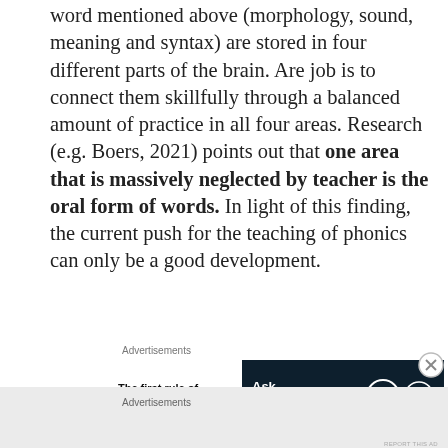word mentioned above (morphology, sound, meaning and syntax) are stored in four different parts of the brain. Are job is to connect them skillfully through a balanced amount of practice in all four areas. Research (e.g. Boers, 2021) points out that one area that is massively neglected by teacher is the oral form of words. In light of this finding, the current push for the teaching of phonics can only be a good development.
Advertisements
[Figure (other): Advertisement banner: left side shows bold text 'The first rule of Startup School?', right side shows a dark navy banner with text 'Ask questions.' alongside WordPress and another circular logo]
Advertisements